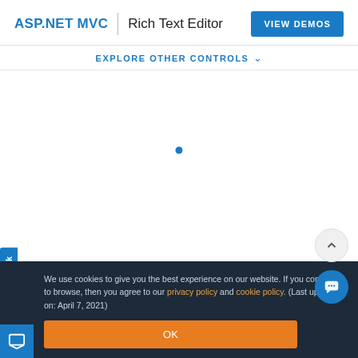ASP.NET MVC | Rich Text Editor
EXPLORE OTHER CONTROLS
[Figure (screenshot): Loading spinner dot in center of white content area]
We use cookies to give you the best experience on our website. If you continue to browse, then you agree to our privacy policy and cookie policy. (Last updated on: April 7, 2021)
OK